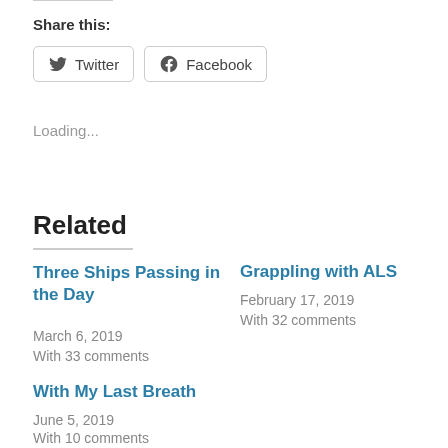Share this:
Twitter  Facebook
Loading...
Related
Three Ships Passing in the Day
March 6, 2019
With 33 comments
Grappling with ALS
February 17, 2019
With 32 comments
With My Last Breath
June 5, 2019
With 10 comments